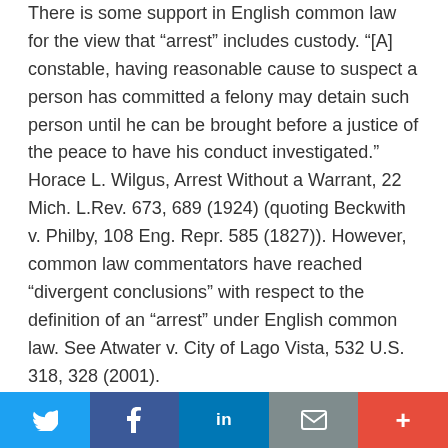There is some support in English common law for the view that “arrest” includes custody. “[A] constable, having reasonable cause to suspect a person has committed a felony may detain such person until he can be brought before a justice of the peace to have his conduct investigated.” Horace L. Wilgus, Arrest Without a Warrant, 22 Mich. L.Rev. 673, 689 (1924) (quoting Beckwith v. Philby, 108 Eng. Repr. 585 (1827)). However, common law commentators have reached “divergent conclusions” with respect to the definition of an “arrest” under English common law. See Atwater v. City of Lago Vista, 532 U.S. 318, 328 (2001).
Neither has traditional American common law developed a consistent definition of the term “arrest.” The state of Maryland, as one of the original colonies, and the first of the colonies to be a proprietary government (the proprietor and
Twitter | Facebook | LinkedIn | Email | More